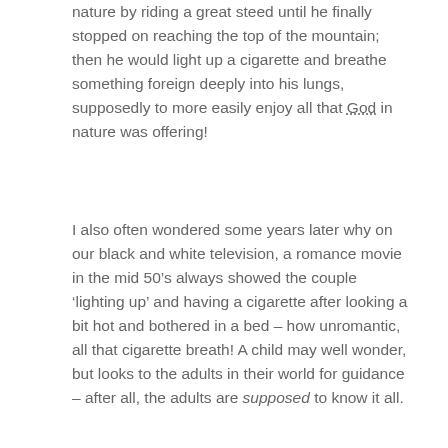nature by riding a great steed until he finally stopped on reaching the top of the mountain; then he would light up a cigarette and breathe something foreign deeply into his lungs, supposedly to more easily enjoy all that God in nature was offering!
I also often wondered some years later why on our black and white television, a romance movie in the mid 50’s always showed the couple ‘lighting up’ and having a cigarette after looking a bit hot and bothered in a bed – how unromantic, all that cigarette breath! A child may well wonder, but looks to the adults in their world for guidance – after all, the adults are supposed to know it all.